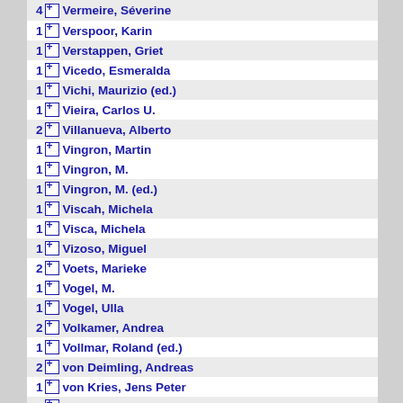4 Vermeire, Séverine
1 Verspoor, Karin
1 Verstappen, Griet
1 Vicedo, Esmeralda
1 Vichi, Maurizio (ed.)
1 Vieira, Carlos U.
2 Villanueva, Alberto
1 Vingron, Martin
1 Vingron, M.
1 Vingron, M. (ed.)
1 Viscah, Michela
1 Visca, Michela
1 Vizoso, Miguel
2 Voets, Marieke
1 Vogel, M.
1 Vogel, Ulla
2 Volkamer, Andrea
1 Vollmar, Roland (ed.)
2 von Deimling, Andreas
1 von Kries, Jens Peter
1 Von Kuster, Greg
1 von Mering, C.